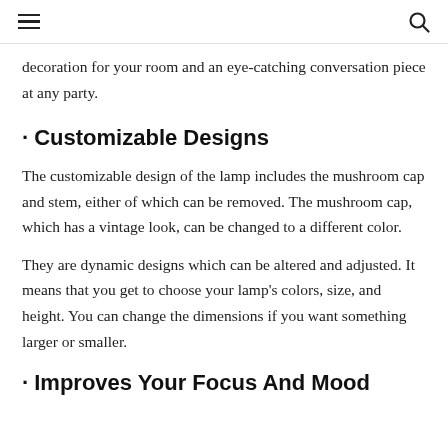≡  🔍
decoration for your room and an eye-catching conversation piece at any party.
· Customizable Designs
The customizable design of the lamp includes the mushroom cap and stem, either of which can be removed. The mushroom cap, which has a vintage look, can be changed to a different color.
They are dynamic designs which can be altered and adjusted. It means that you get to choose your lamp's colors, size, and height. You can change the dimensions if you want something larger or smaller.
· Improves Your Focus And Mood